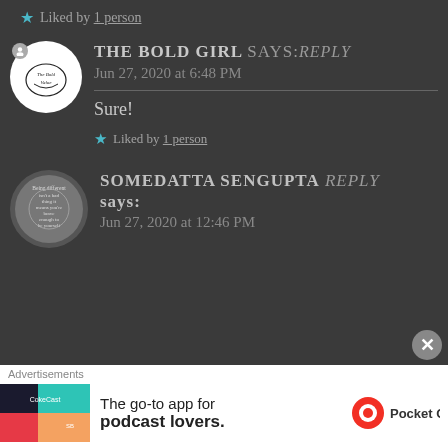★ Liked by 1 person
THE BOLD GIRL says: Reply
Jun 27, 2020 at 6:48 PM
Sure!
★ Liked by 1 person
SOMEDATTA SENGUPTA Reply says:
Jun 27, 2020 at 12:46 PM
Advertisements
The go-to app for podcast lovers. Pocket Casts